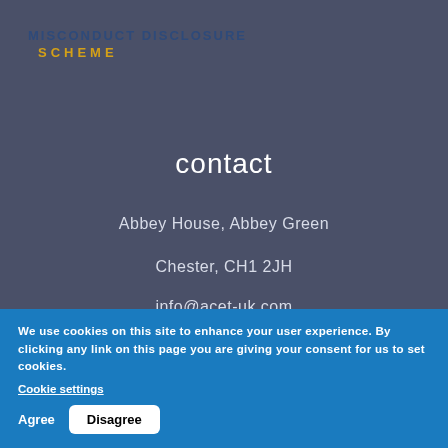[Figure (logo): Misconduct Disclosure Scheme logo with blue and gold text]
contact
Abbey House, Abbey Green
Chester, CH1 2JH
info@acet-uk.com
+ 44 (0) 1244 566 111
sign up for acet uk news & campaigns
We use cookies on this site to enhance your user experience. By clicking any link on this page you are giving your consent for us to set cookies.
Cookie settings
Agree
Disagree